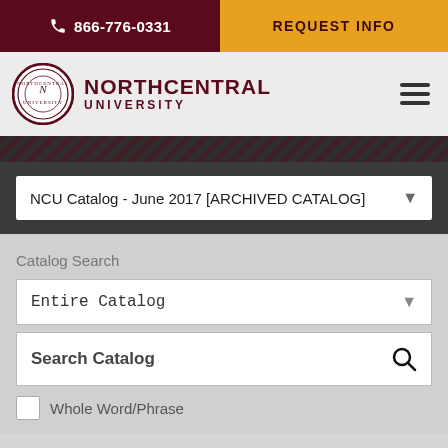866-776-0331 | REQUEST INFO
[Figure (logo): Northcentral University logo with circular seal and text NORTHCENTRAL UNIVERSITY]
NCU Catalog - June 2017 [ARCHIVED CATALOG]
Catalog Search
Entire Catalog
Search Catalog
Whole Word/Phrase
Advanced Search